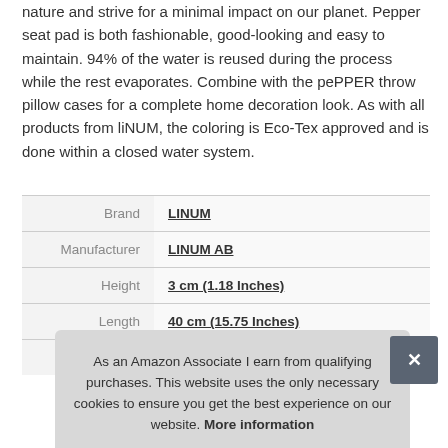nature and strive for a minimal impact on our planet. Pepper seat pad is both fashionable, good-looking and easy to maintain. 94% of the water is reused during the process while the rest evaporates. Combine with the pePPER throw pillow cases for a complete home decoration look. As with all products from liNUM, the coloring is Eco-Tex approved and is done within a closed water system.
|  |  |
| --- | --- |
| Brand | LINUM |
| Manufacturer | LINUM AB |
| Height | 3 cm (1.18 Inches) |
| Length | 40 cm (15.75 Inches) |
| P |  |
As an Amazon Associate I earn from qualifying purchases. This website uses the only necessary cookies to ensure you get the best experience on our website. More information